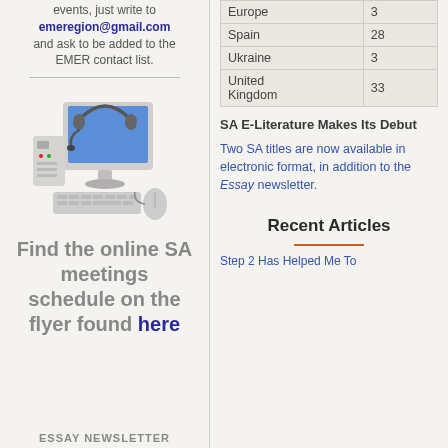events, just write to emeregion@gmail.com and ask to be added to the EMER contact list.
[Figure (illustration): Computer workstation with monitor, headset, keyboard, and mouse illustration]
Find the online SA meetings schedule on the flyer found here
ESSAY NEWSLETTER
| Country | Count |
| --- | --- |
| Europe | 3 |
| Spain | 28 |
| Ukraine | 3 |
| United Kingdom | 33 |
SA E-Literature Makes Its Debut
Two SA titles are now available in electronic format, in addition to the Essay newsletter.
Recent Articles
Step 2 Has Helped Me To